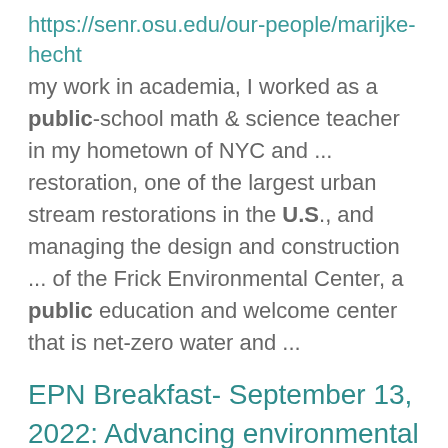https://senr.osu.edu/our-people/marijke-hecht my work in academia, I worked as a public-school math & science teacher in my hometown of NYC and ... restoration, one of the largest urban stream restorations in the U.S., and managing the design and construction ... of the Frick Environmental Center, a public education and welcome center that is net-zero water and ...
EPN Breakfast- September 13, 2022: Advancing environmental justice in extreme heat and